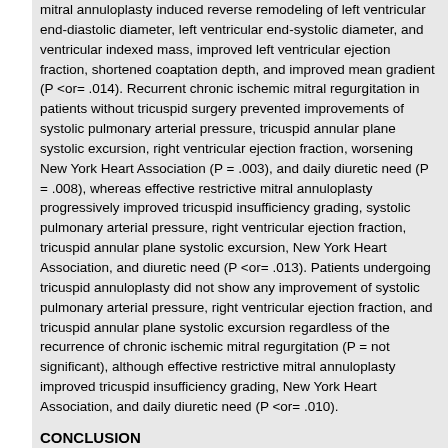mitral annuloplasty induced reverse remodeling of left ventricular end-diastolic diameter, left ventricular end-systolic diameter, and ventricular indexed mass, improved left ventricular ejection fraction, shortened coaptation depth, and improved mean gradient (P <or= .014). Recurrent chronic ischemic mitral regurgitation in patients without tricuspid surgery prevented improvements of systolic pulmonary arterial pressure, tricuspid annular plane systolic excursion, right ventricular ejection fraction, worsening New York Heart Association (P = .003), and daily diuretic need (P = .008), whereas effective restrictive mitral annuloplasty progressively improved tricuspid insufficiency grading, systolic pulmonary arterial pressure, right ventricular ejection fraction, tricuspid annular plane systolic excursion, New York Heart Association, and diuretic need (P <or= .013). Patients undergoing tricuspid annuloplasty did not show any improvement of systolic pulmonary arterial pressure, right ventricular ejection fraction, and tricuspid annular plane systolic excursion regardless of the recurrence of chronic ischemic mitral regurgitation (P = not significant), although effective restrictive mitral annuloplasty improved tricuspid insufficiency grading, New York Heart Association, and daily diuretic need (P <or= .010).
CONCLUSION
Effective restrictive mitral annuloplasty induces reverse left ventricular remodeling. Absence of recurrent chronic